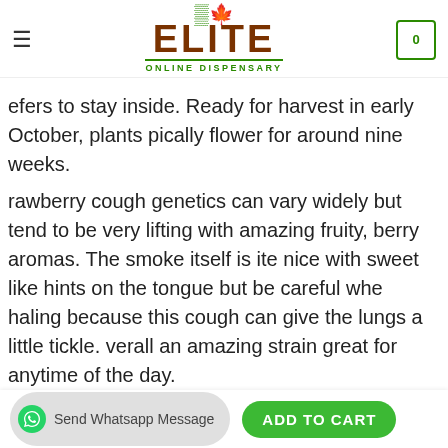Elite Online Dispensary
efers to stay inside. Ready for harvest in early October, plants pically flower for around nine weeks.
rawberry cough genetics can vary widely but tend to be very lifting with amazing fruity, berry aromas. The smoke itself is ite nice with sweet like hints on the tongue but be careful whe haling because this cough can give the lungs a little tickle. verall an amazing strain great for anytime of the day.
Buy Strawberry cough Online – Elite Online Dispensary
Buy Strawberry cough online, buy real Strawberry cough online, buy legal Strawberry cough online, buy Strawberry cough online,
Send Whatsapp Message | ADD TO CART